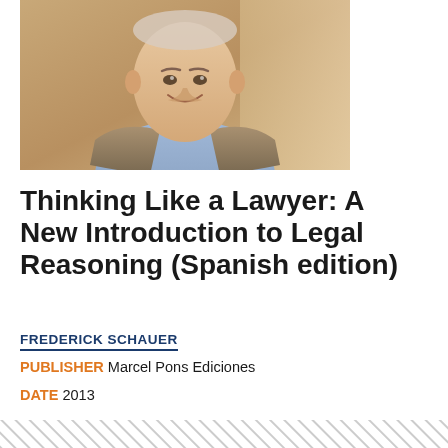[Figure (photo): Portrait photo of Frederick Schauer, an older man smiling, wearing a light blue shirt and tan/brown blazer, with a warm background]
Thinking Like a Lawyer: A New Introduction to Legal Reasoning (Spanish edition)
FREDERICK SCHAUER
PUBLISHER Marcel Pons Ediciones
DATE 2013